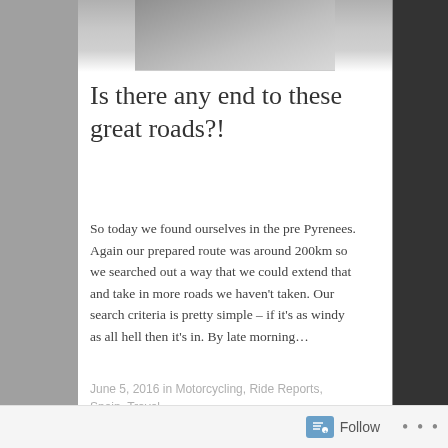[Figure (photo): Top portion of a road or gravel surface photo, partially visible at top of page]
Is there any end to these great roads?!
So today we found ourselves in the pre Pyrenees. Again our prepared route was around 200km so we searched out a way that we could extend that and take in more roads we haven't taken. Our search criteria is pretty simple – if it's as windy as all hell then it's in. By late morning…
June 5, 2016 in Motorcycling, Ride Reports, Spain, Travel.
[Figure (photo): Bottom of page: partial view of a landscape photo showing sky with clouds and green hills]